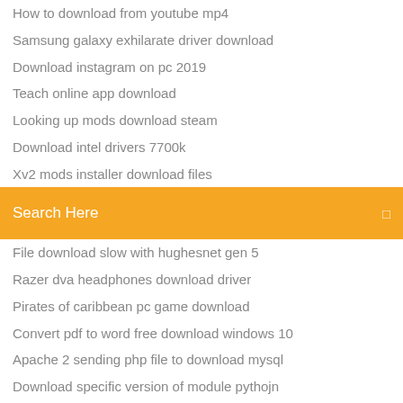How to download from youtube mp4
Samsung galaxy exhilarate driver download
Download instagram on pc 2019
Teach online app download
Looking up mods download steam
Download intel drivers 7700k
Xv2 mods installer download files
[Figure (screenshot): Orange/amber search bar with text 'Search Here' in white and a small icon on the right]
File download slow with hughesnet gen 5
Razer dva headphones download driver
Pirates of caribbean pc game download
Convert pdf to word free download windows 10
Apache 2 sending php file to download mysql
Download specific version of module pythojn
Torrent site for download latest software
Download driver hl 3170 cdw
Samsung xpress c480fw driver download
Young d dreams2reality album zip file download